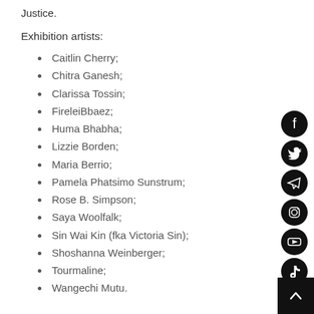Justice.
Exhibition artists:
Caitlin Cherry;
Chitra Ganesh;
Clarissa Tossin;
FireleiBbaez;
Huma Bhabha;
Lizzie Borden;
Maria Berrio;
Pamela Phatsimo Sunstrum;
Rose B. Simpson;
Saya Woolfalk;
Sin Wai Kin (fka Victoria Sin);
Shoshanna Weinberger;
Tourmaline;
Wangechi Mutu.
[Figure (illustration): Social media icon buttons on right sidebar: Facebook, Twitter, Telegram, Instagram, YouTube, TikTok, Email, Phone, and a scroll-up arrow button at bottom right.]